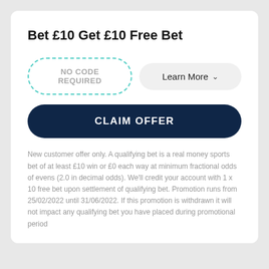Bet £10 Get £10 Free Bet
NO CODE REQUIRED
Learn More
CLAIM OFFER
New customer offer only. A qualifying bet is a real money sports bet of at least £10 win or £0 each way at minimum fractional odds of evens (2.0 in decimal odds). We'll credit your account with 1 x 10 free bet upon settlement of qualifying bet. Promotion runs from 25/02/2022 until 31/06/2022. If this promotion is withdrawn it will not impact any qualifying bet you have placed during promotional period